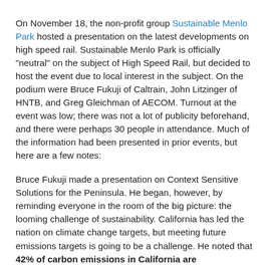On November 18, the non-profit group Sustainable Menlo Park hosted a presentation on the latest developments on high speed rail. Sustainable Menlo Park is officially "neutral" on the subject of High Speed Rail, but decided to host the event due to local interest in the subject. On the podium were Bruce Fukuji of Caltrain, John Litzinger of HNTB, and Greg Gleichman of AECOM. Turnout at the event was low; there was not a lot of publicity beforehand, and there were perhaps 30 people in attendance. Much of the information had been presented in prior events, but here are a few notes:
Bruce Fukuji made a presentation on Context Sensitive Solutions for the Peninsula. He began, however, by reminding everyone in the room of the big picture: the looming challenge of sustainability. California has led the nation on climate change targets, but meeting future emissions targets is going to be a challenge. He noted that 42% of carbon emissions in California are transportation-related. Even with improvements in fuel efficiency, an expanding population will result in an increase